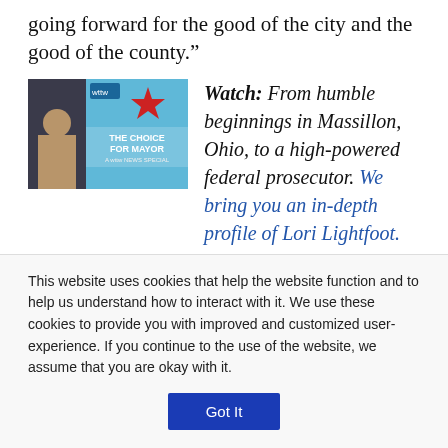going forward for the good of the city and the good of the county.”
[Figure (screenshot): Video thumbnail showing a woman with text 'THE CHOICE FOR MAYOR - A wttw NEWS SPECIAL' on a blue background with a red star graphic.]
Watch: From humble beginnings in Massillon, Ohio, to a high-powered federal prosecutor. We bring you an in-depth profile of Lori Lightfoot.
Lightfoot has also had a less-than-favorable relationship with Mayor Rahm Emanuel (she launched her mayoral
This website uses cookies that help the website function and to help us understand how to interact with it. We use these cookies to provide you with improved and customized user-experience. If you continue to the use of the website, we assume that you are okay with it.